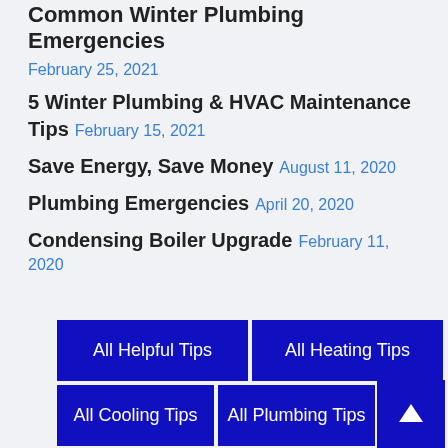Common Winter Plumbing Emergencies
February 25, 2021
5 Winter Plumbing & HVAC Maintenance Tips  February 15, 2021
Save Energy, Save Money  August 11, 2020
Plumbing Emergencies  April 20, 2020
Condensing Boiler Upgrade  February 11, 2020
[Figure (infographic): Four blue navigation buttons in a 2x2 grid: All Helpful Tips, All Heating Tips, All Cooling Tips, All Plumbing Tips. A scroll-to-top arrow button overlays the bottom-right corner.]